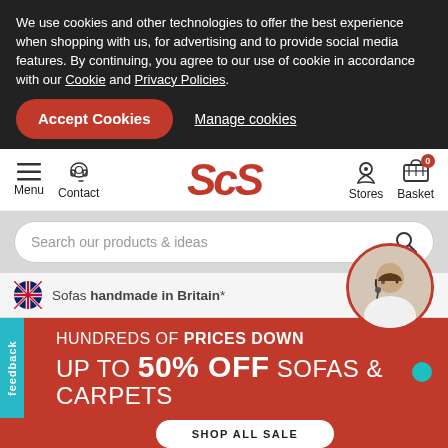We use cookies and other technologies to offer the best experience when shopping with us, for advertising and to provide social media features. By continuing, you agree to our use of cookie in accordance with our Cookie and Privacy Policies.
Accept Cookies
Manage cookies
[Figure (logo): ScS retailer logo in red italic bold font]
Menu
Contact
Stores
Basket 0
Search our products & ideas
Sofas handmade in Britain*
feedback
HUNDREDS OF PRICES DOWN
UP TO 50% OFF SOFAS & CARPETS
SHOP ALL SALE